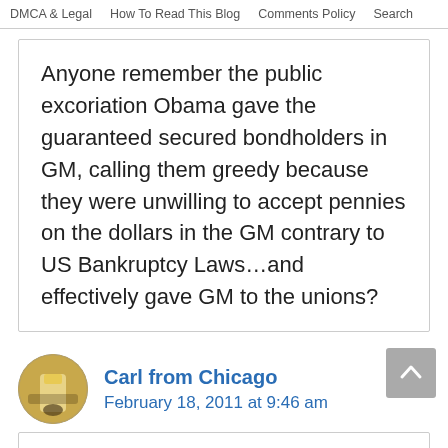DMCA & Legal   How To Read This Blog   Comments Policy   Search
Anyone remember the public excoriation Obama gave the guaranteed secured bondholders in GM, calling them greedy because they were unwilling to accept pennies on the dollars in the GM contrary to US Bankruptcy Laws…and effectively gave GM to the unions?
Carl from Chicago
February 18, 2011 at 9:46 am
Great work on all this Dan. I had to laugh